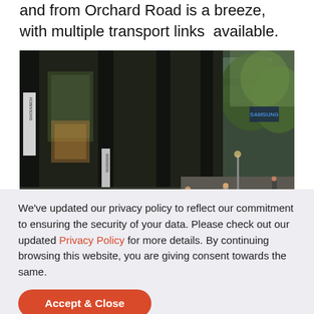and from Orchard Road is a breeze, with multiple transport links  available.
[Figure (photo): Street-level view of Robinsons department store on Orchard Road, Singapore. Modern dark facade with vertical signage columns reading 'ROBINSONS', a water feature with boulders in the foreground, and pedestrians walking along the sidewalk with trees visible on the right side.]
We've updated our privacy policy to reflect our commitment to ensuring the security of your data. Please check out our updated Privacy Policy for more details. By continuing browsing this website, you are giving consent towards the same.
Accept & Close